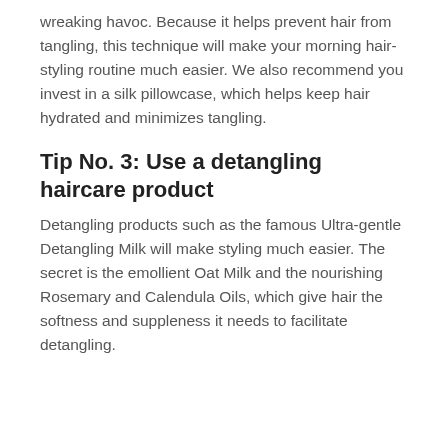wreaking havoc. Because it helps prevent hair from tangling, this technique will make your morning hair-styling routine much easier. We also recommend you invest in a silk pillowcase, which helps keep hair hydrated and minimizes tangling.
Tip No. 3: Use a detangling haircare product
Detangling products such as the famous Ultra-gentle Detangling Milk will make styling much easier. The secret is the emollient Oat Milk and the nourishing Rosemary and Calendula Oils, which give hair the softness and suppleness it needs to facilitate detangling.